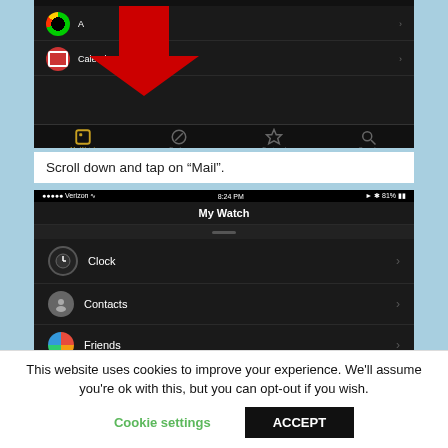[Figure (screenshot): iPhone app screenshot showing Apple Watch app navigation with red arrow pointing down, bottom tabs: My Watch (active), Explore, Featured, Search. List shows Activity and Calendar items.]
Scroll down and tap on “Mail”.
[Figure (screenshot): iPhone app screenshot showing My Watch screen with list items: Clock, Contacts, Friends, and partially visible Health with a red arrow pointing to it. Status bar shows Verizon, 8:24 PM, 81% battery.]
This website uses cookies to improve your experience. We’ll assume you’re ok with this, but you can opt-out if you wish.
Cookie settings
ACCEPT